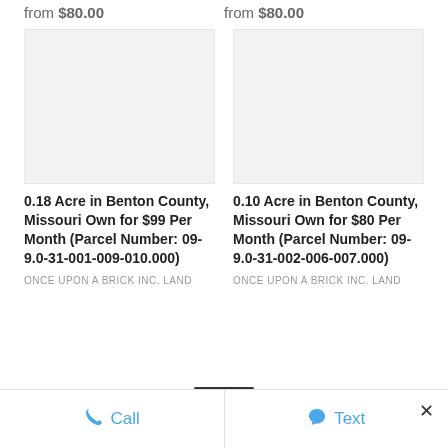from $80.00
from $80.00
[Figure (photo): Gray placeholder image for land listing]
[Figure (photo): Gray placeholder image for land listing]
0.18 Acre in Benton County, Missouri Own for $99 Per Month (Parcel Number: 09-9.0-31-001-009-010.000)
ONCE UPON A BRICK INC. LAND
0.10 Acre in Benton County, Missouri Own for $80 Per Month (Parcel Number: 09-9.0-31-002-006-007.000)
ONCE UPON A BRICK INC. LAND
Call   Text   ×